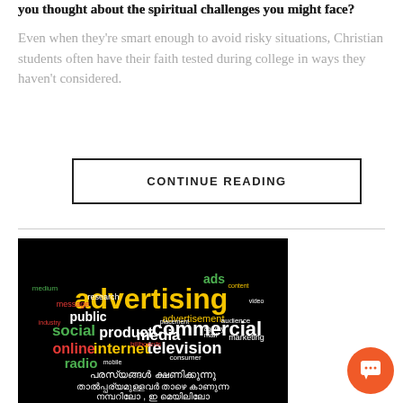you thought about the spiritual challenges you might face?
Even when they're smart enough to avoid risky situations, Christian students often have their faith tested during college in ways they haven't considered.
CONTINUE READING
[Figure (photo): Word cloud image on black background with advertising-related words like 'advertising', 'commercial', 'television', 'internet', 'media', 'social', 'online', 'radio', 'product', 'public', etc. Below the word cloud is Malayalam text.]